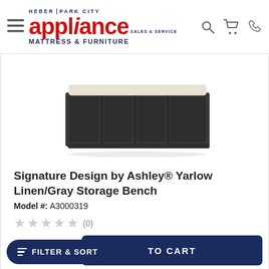Heber Park City Appliance Sales & Service Mattress & Furniture
[Figure (photo): Signature Design by Ashley Yarlow Linen/Gray Storage Bench — a dark gray rectangular bench with four open cubbies and a light cream/linen cushion on top]
Signature Design by Ashley® Yarlow Linen/Gray Storage Bench
Model #: A3000319
★★★★★ (0)
$270.00